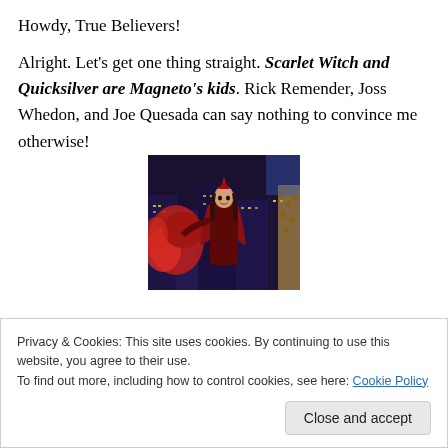Howdy, True Believers!
Alright. Let's get one thing straight. Scarlet Witch and Quicksilver are Magneto's kids. Rick Remender, Joss Whedon, and Joe Quesada can say nothing to convince me otherwise!
[Figure (illustration): Comic book panel showing Scarlet Witch in red costume with crimson energy swirling around her, standing in a city at night]
Privacy & Cookies: This site uses cookies. By continuing to use this website, you agree to their use.
To find out more, including how to control cookies, see here: Cookie Policy
Close and accept